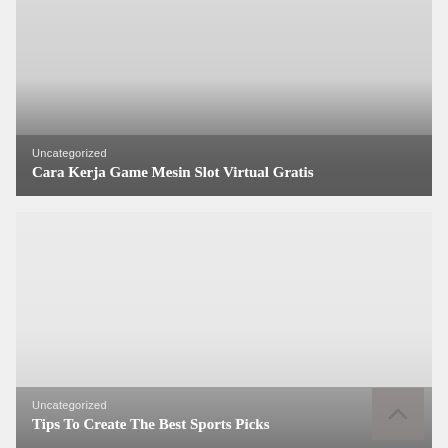[Figure (photo): Card with gradient image background fading from light gray to dark gray]
Uncategorized
Cara Kerja Game Mesin Slot Virtual Gratis
[Figure (photo): Card with light gray gradient image background]
Uncategorized
Tips To Create The Best Sports Picks